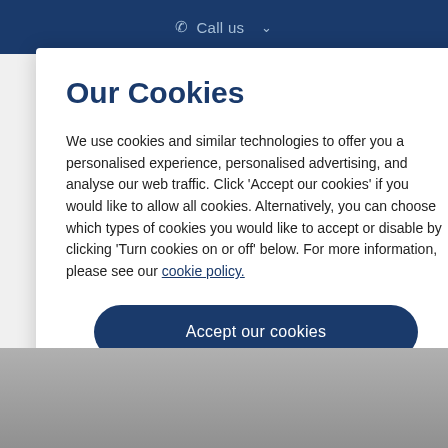Call us ∨
Our Cookies
We use cookies and similar technologies to offer you a personalised experience, personalised advertising, and analyse our web traffic. Click 'Accept our cookies' if you would like to allow all cookies. Alternatively, you can choose which types of cookies you would like to accept or disable by clicking 'Turn cookies on or off' below. For more information, please see our cookie policy.
Accept our cookies